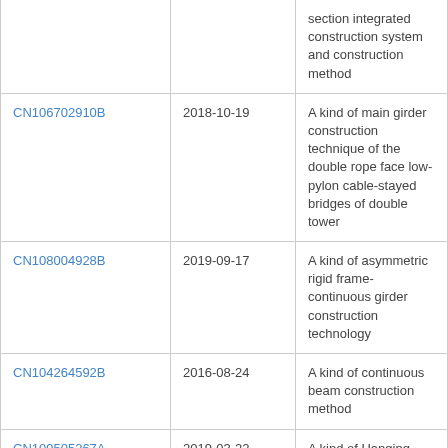| Patent ID | Date | Description |
| --- | --- | --- |
|  |  | section integrated construction system and construction method |
| CN106702910B | 2018-10-19 | A kind of main girder construction technique of the double rope face low-pylon cable-stayed bridges of double tower |
| CN108004928B | 2019-09-17 | A kind of asymmetric rigid frame-continuous girder construction technology |
| CN104264592B | 2016-08-24 | A kind of continuous beam construction method |
| CN109505267A | 2019-03-22 | A kind of Hanging Basket cantilever pouring construction method |
| CN103255726A | 2013-08-21 | Construction method for continuous beam and arch combination bridge |
| CN102094392A | 2011-06-15 | Lower supported hanging basket in bridge construction and |